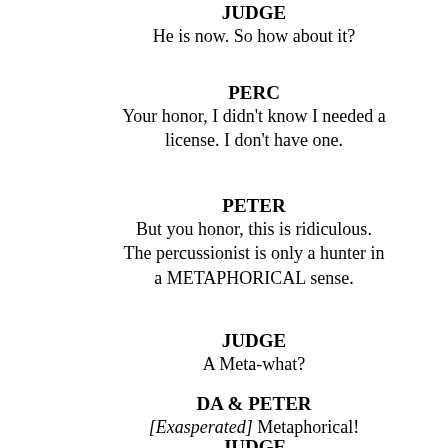JUDGE
He is now. So how about it?
PERC
Your honor, I didn't know I needed a license. I don't have one.
PETER
But you honor, this is ridiculous. The percussionist is only a hunter in a METAPHORICAL sense.
JUDGE
A Meta-what?
DA & PETER
[Exasperated] Metaphorical!
JUDGE